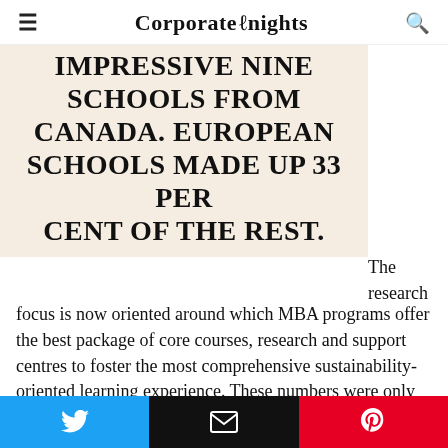Corporate Knights
IMPRESSIVE NINE SCHOOLS FROM CANADA. EUROPEAN SCHOOLS MADE UP 33 PER CENT OF THE REST.
The research focus is now oriented around which MBA programs offer the best package of core courses, research and support centres to foster the most comprehensive sustainability-oriented learning experience. These numbers were only taken from publicly available sources.
The Schulich School of Business at York University...